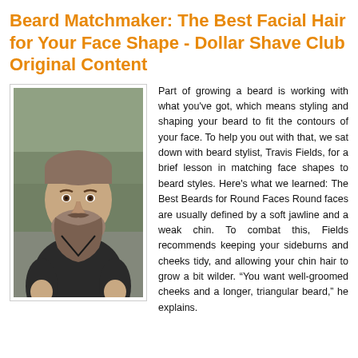Beard Matchmaker: The Best Facial Hair for Your Face Shape - Dollar Shave Club Original Content
[Figure (photo): A muscular man with a styled beard and short hair wearing a dark t-shirt, photographed outdoors with a blurred background.]
Part of growing a beard is working with what you've got, which means styling and shaping your beard to fit the contours of your face. To help you out with that, we sat down with beard stylist, Travis Fields, for a brief lesson in matching face shapes to beard styles. Here's what we learned: The Best Beards for Round Faces Round faces are usually defined by a soft jawline and a weak chin. To combat this, Fields recommends keeping your sideburns and cheeks tidy, and allowing your chin hair to grow a bit wilder. “You want well-groomed cheeks and a longer, triangular beard,” he explains.